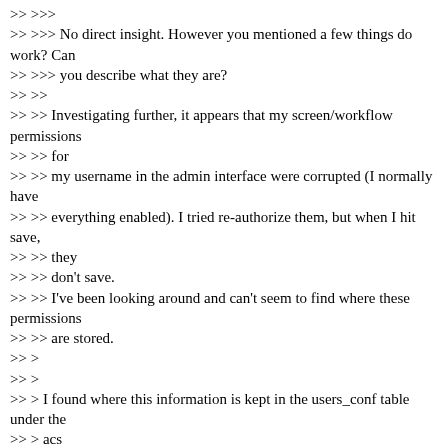>> >>>
>> >>> No direct insight.  However you mentioned a few things do work?  Can
>> >>> you describe what they are?
>> >>
>> >> Investigating further, it appears that my screen/workflow permissions
>> >> for
>> >> my username in the admin interface were corrupted (I normally have
>> >> everything enabled).  I tried re-authorize them, but when I hit save,
>> >> they
>> >> don't save.
>> >> I've been looking around and can't seem to find where these permissions
>> >> are stored.
>> >
>> >
>> > I found where this information is kept in the users_conf table under the
>> > acs
>> > column.  For some reason, it appears that the admin interface is unable
>> > to